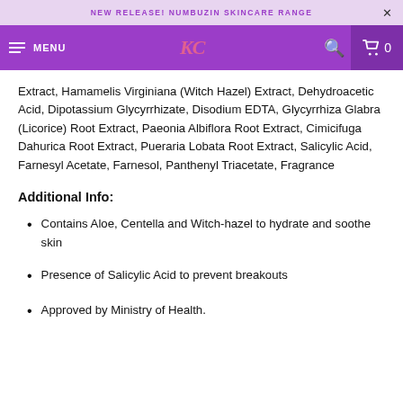NEW RELEASE! NUMBUZIN SKINCARE RANGE
[Figure (screenshot): Navigation bar with hamburger menu, KC logo, search icon, and cart with 0 items]
Extract, Hamamelis Virginiana (Witch Hazel) Extract, Dehydroacetic Acid, Dipotassium Glycyrrhizate, Disodium EDTA, Glycyrrhiza Glabra (Licorice) Root Extract, Paeonia Albiflora Root Extract, Cimicifuga Dahurica Root Extract, Pueraria Lobata Root Extract, Salicylic Acid, Farnesyl Acetate, Farnesol, Panthenyl Triacetate, Fragrance
Additional Info:
Contains Aloe, Centella and Witch-hazel to hydrate and soothe skin
Presence of Salicylic Acid to prevent breakouts
Approved by Ministry of Health.